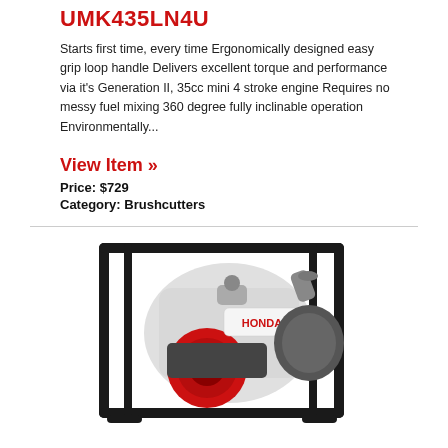UMK435LN4U
Starts first time, every time Ergonomically designed easy grip loop handle Delivers excellent torque and performance via it's Generation II, 35cc mini 4 stroke engine Requires no messy fuel mixing 360 degree fully inclinable operation Environmentally...
View Item »
Price: $729
Category: Brushcutters
[Figure (photo): Honda water pump with engine, mounted in a black steel frame. Red engine with Honda branding visible.]